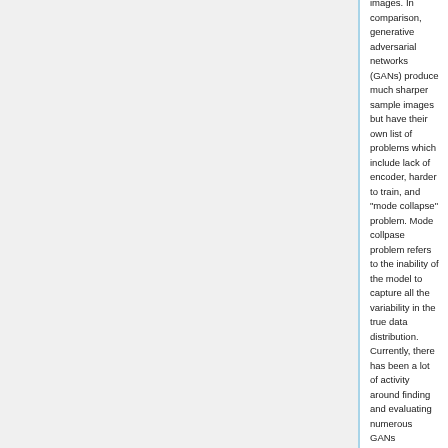images. In comparison, generative adversarial networks (GANs) produce much sharper sample images but have their own list of problems which include lack of encoder, harder to train, and "mode collapse" problem. Mode collpase problem refers to the inability of the model to capture all the variability in the true data distribution. Currently, there has been a lot of activity around finding and evaluating numerous GANs architectures and combining VAEs and GANs but a model which combines the best of both GANs and VAEs is yet to be discovered.
The work done in this paper builds up on the theoretical work done in [4]. The authors tackle generative modeling using optimal transport (OT). The OT cost is defined as measure of distance between